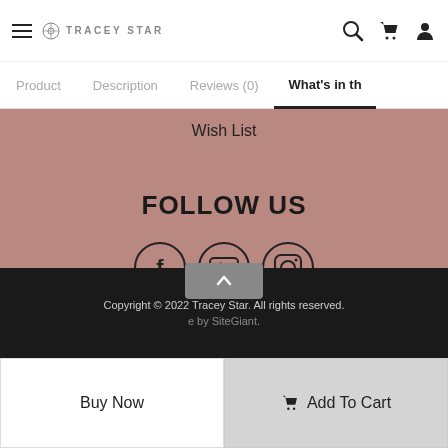≡ TRACEY STAR
Product   Description   Reviews (0)   What's in th
Wish List
FOLLOW US
[Figure (illustration): Three social media icons in circles: Facebook (f), YouTube (play button), Instagram (camera)]
Copyright © 2022 Tracey Star. All rights reserved. Powered by SiteGiant.
Buy Now
Add To Cart